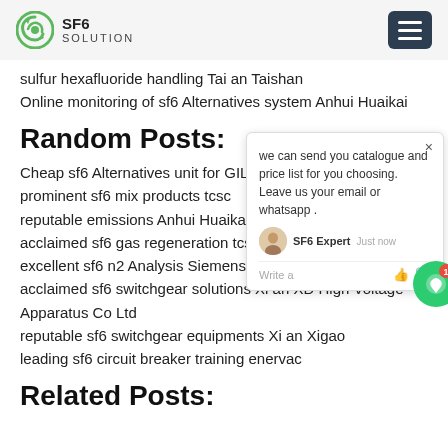SF6 SOLUTION
sulfur hexafluoride handling Tai an Taishan
Online monitoring of sf6 Alternatives system Anhui Huaikai
Random Posts:
Cheap sf6 Alternatives unit for GIL
prominent sf6 mix products tcsc
reputable emissions Anhui Huaikai
acclaimed sf6 gas regeneration tcsc
excellent sf6 n2 Analysis Siemens Ltd
acclaimed sf6 switchgear solutions Xi an XD High Voltage Apparatus Co Ltd
reputable sf6 switchgear equipments Xi an Xigao
leading sf6 circuit breaker training enervac
Related Posts: